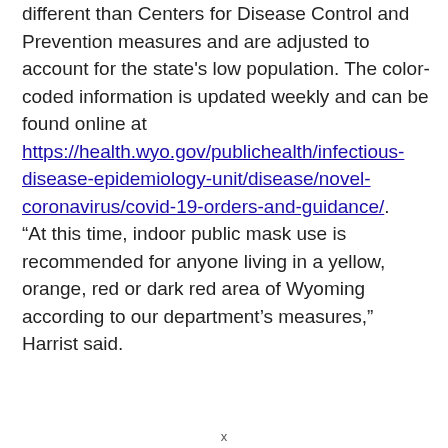different than Centers for Disease Control and Prevention measures and are adjusted to account for the state's low population. The color-coded information is updated weekly and can be found online at https://health.wyo.gov/publichealth/infectious-disease-epidemiology-unit/disease/novel-coronavirus/covid-19-orders-and-guidance/.
“At this time, indoor public mask use is recommended for anyone living in a yellow, orange, red or dark red area of Wyoming according to our department’s measures,” Harrist said.